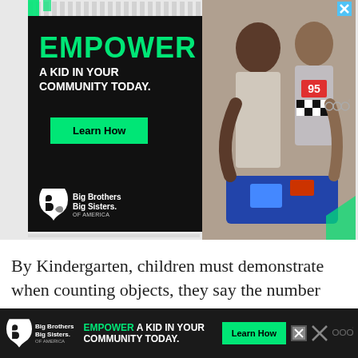[Figure (infographic): Big Brothers Big Sisters of America advertisement. Left panel: black background with green 'EMPOWER' text, 'A KID IN YOUR COMMUNITY TODAY.' tagline, green 'Learn How' button, and Big Brothers Big Sisters logo. Right panel: photo of an adult man and boy working together on a robotics project.]
By Kindergarten, children must demonstrate when counting objects, they say the number names in the standard order, pairing each object with one and only one number name and each number name with one and only one object.
[Figure (infographic): Bottom sticky advertisement bar for Big Brothers Big Sisters of America. Dark background with logo on left, 'EMPOWER A KID IN YOUR COMMUNITY TODAY.' text in white and green, green 'Learn How' button, and close buttons.]